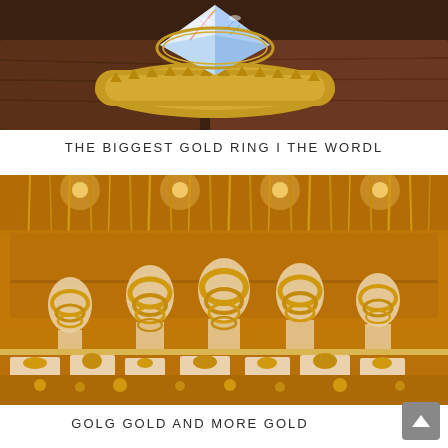[Figure (photo): Close-up photo of a large ornate gold ring with a massive faceted crystal/diamond on a wooden display, seen from above. The ring is decorated with gold pyramidal studs around the band.]
THE BIGGEST GOLD RING I THE WORDL
[Figure (photo): Photo of a gold jewelry store display with mannequin busts wearing elaborate gold necklaces and jewelry sets. Many chains and necklaces hang from the ceiling. The display case shows rings and other gold jewelry pieces. The lighting is warm/amber.]
GOLG GOLD AND MORE GOLD